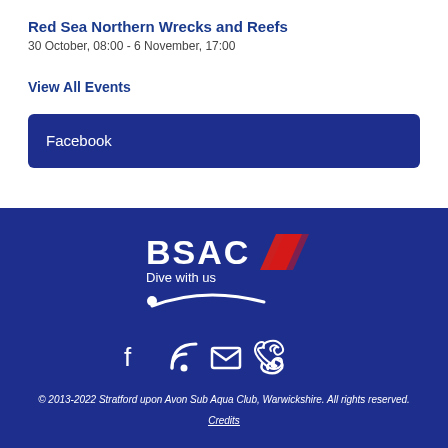Red Sea Northern Wrecks and Reefs
30 October, 08:00 - 6 November, 17:00
View All Events
Facebook
[Figure (logo): BSAC Dive with us logo with swoosh and diver silhouette]
[Figure (infographic): Social media icons: Facebook, RSS, email, phone]
© 2013-2022 Stratford upon Avon Sub Aqua Club, Warwickshire. All rights reserved.
Credits